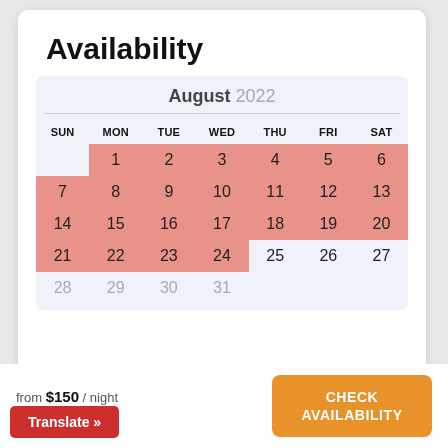Availability
[Figure (other): August 2022 availability calendar with pink highlighted dates (1–24 booked/unavailable), dates 25 and 27 shown in blue, and dates 28–31 partially visible at bottom]
from $150 / night
5 ★
CHECK AVAILABILITY
Translate »